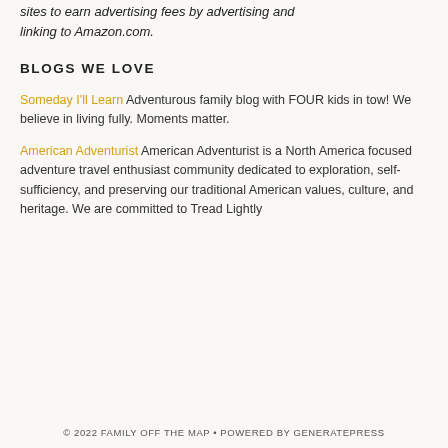sites to earn advertising fees by advertising and linking to Amazon.com.
BLOGS WE LOVE
Someday I'll Learn Adventurous family blog with FOUR kids in tow! We believe in living fully. Moments matter.
American Adventurist American Adventurist is a North America focused adventure travel enthusiast community dedicated to exploration, self-sufficiency, and preserving our traditional American values, culture, and heritage. We are committed to Tread Lightly
© 2022 FAMILY OFF THE MAP • POWERED BY GENERATEPRESS